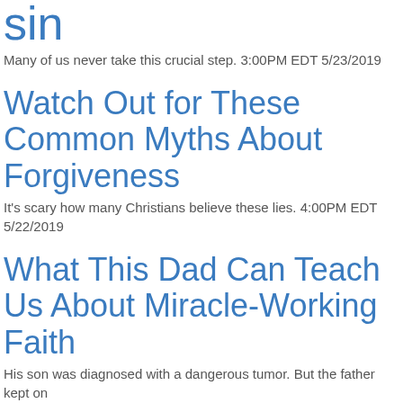sin
Many of us never take this crucial step. 3:00PM EDT 5/23/2019
Watch Out for These Common Myths About Forgiveness
It's scary how many Christians believe these lies. 4:00PM EDT 5/22/2019
What This Dad Can Teach Us About Miracle-Working Faith
His son was diagnosed with a dangerous tumor. But the father kept on